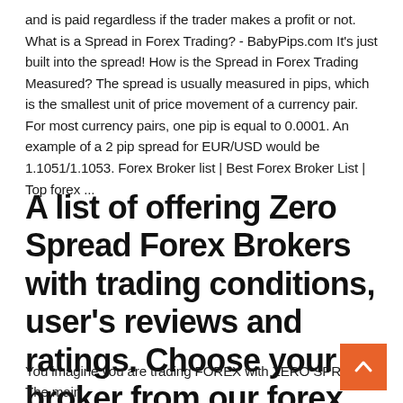and is paid regardless if the trader makes a profit or not. What is a Spread in Forex Trading? - BabyPips.com It's just built into the spread! How is the Spread in Forex Trading Measured? The spread is usually measured in pips, which is the smallest unit of price movement of a currency pair. For most currency pairs, one pip is equal to 0.0001. An example of a 2 pip spread for EUR/USD would be 1.1051/1.1053. Forex Broker list | Best Forex Broker List | Top forex ...
A list of offering Zero Spread Forex Brokers with trading conditions, user's reviews and ratings. Choose your broker from our forex broker list.
You imagine you are trading FOREX with ZERO SPREAD. The main